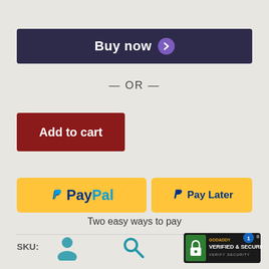[Figure (screenshot): Buy now button with dark navy background and purple chevron circle arrow]
— OR —
[Figure (screenshot): Red Add to cart button]
[Figure (screenshot): PayPal and Pay Later yellow payment buttons with PayPal branding]
Two easy ways to pay
SKU:
[Figure (infographic): Bottom navigation bar with user icon, search icon, and GoDaddy Verified & Secured badge with notification bubble showing 1]